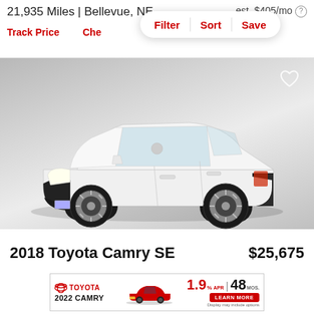21,935 Miles | Bellevue, NE
est. $405/mo
Track Price
Che...
Filter | Sort | Save
[Figure (photo): White 2018 Toyota Camry SE sedan photographed from a three-quarter front angle against a gray gradient studio background]
2018 Toyota Camry SE
$25,675
[Figure (infographic): Toyota advertisement banner for 2022 Camry showing 1.9% APR for 48 months with a Learn More button and red Toyota Camry image]